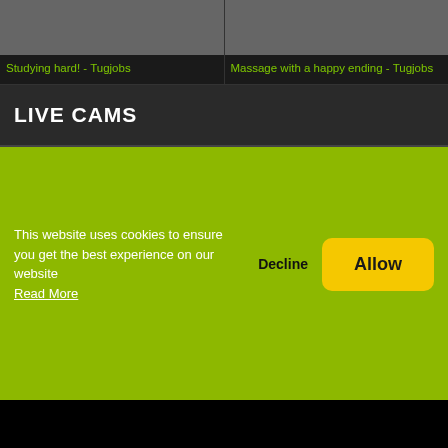[Figure (photo): Thumbnail image placeholder left]
Studying hard! - Tugjobs
[Figure (photo): Thumbnail image placeholder right]
Massage with a happy ending - Tugjobs
LIVE CAMS
This website uses cookies to ensure you get the best experience on our website
Read More
Decline
Allow